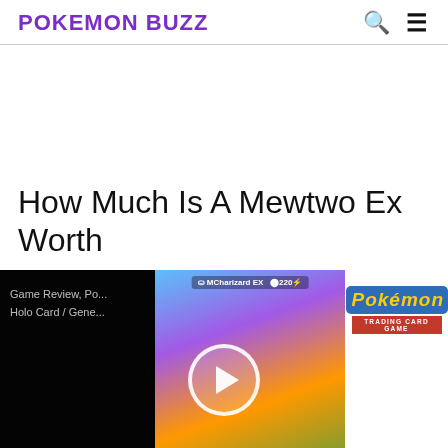POKEMON BUZZ
How Much Is A Mewtwo Ex Worth
[Figure (screenshot): Video thumbnail showing a Pokemon Trading Card Game video with a Charizard EX card in the center, partially visible text on the left reading 'Game Review, Po... Holo Card / Gene...', Pokemon Trading Card Game logo on the right, and a play button overlay in the center.]